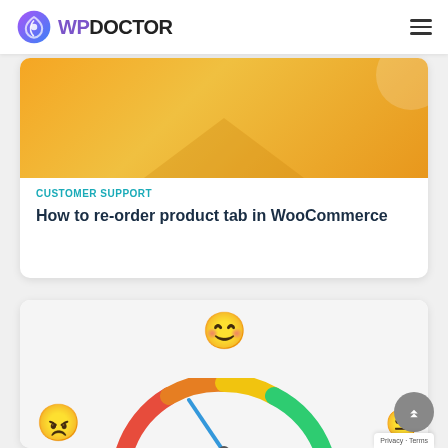WP DOCTOR
[Figure (illustration): Orange gradient card image with decorative circle and triangle shapes]
CUSTOMER SUPPORT
How to re-order product tab in WooCommerce
[Figure (illustration): Emoji-based customer satisfaction speedometer illustration showing angry face, happy face, and neutral face over a colorful arc gauge]